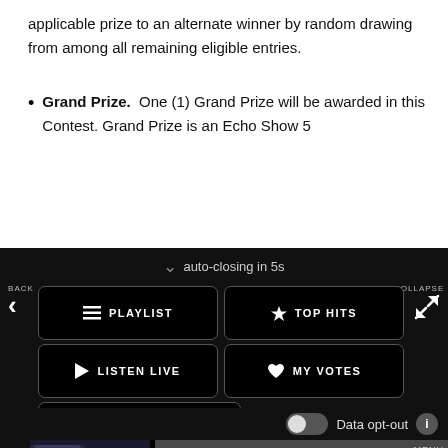applicable prize to an alternate winner by random drawing from among all remaining eligible entries.
Grand Prize. One (1) Grand Prize will be awarded in this Contest. Grand Prize is an Echo Show 5
[Figure (screenshot): App navigation UI on dark background showing: auto-closing in 5s, BACK button, COLLAPSE button, PLAYLIST, TOP HITS, LISTEN LIVE, MY VOTES, CONTROLS navigation buttons, Data opt-out toggle, and music player showing 'Back To You' by Selena Gomez with MENU, X, and play controls]